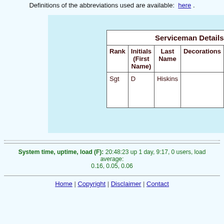Definitions of the abbreviations used are available: here .
| Rank | Initials (First Name) | Last Name | Decorations | Service | Serv No. |
| --- | --- | --- | --- | --- | --- |
| Sgt | D | Hiskins |  | RAF |  |
The details were last updated: 03 September 2022
System time, uptime, load (F): 20:48:23 up 1 day, 9:17, 0 users, load average: 0.16, 0.05, 0.06
Home | Copyright | Disclaimer | Contact